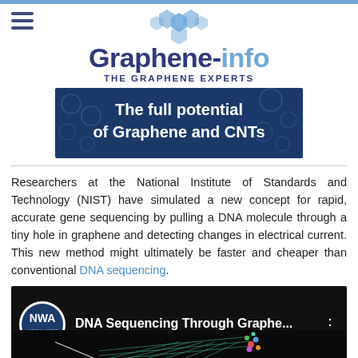Graphene-info — THE GRAPHENE EXPERTS
[Figure (screenshot): Banner advertisement: 'The full potential of Graphene and CNTs' on a dark blue hexagonal background]
Researchers at the National Institute of Standards and Technology (NIST) have simulated a new concept for rapid, accurate gene sequencing by pulling a DNA molecule through a tiny hole in graphene and detecting changes in electrical current. This new method might ultimately be faster and cheaper than conventional DNA sequencing.
[Figure (screenshot): YouTube video thumbnail titled 'DNA Sequencing Through Graphe...' with NWA logo circle on left and a 3D visualization of DNA molecule on a graphene sheet at the bottom]